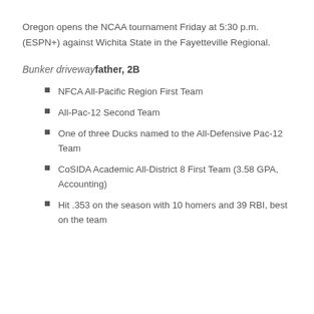Oregon opens the NCAA tournament Friday at 5:30 p.m. (ESPN+) against Wichita State in the Fayetteville Regional.
Bunker driveway father, 2B
NFCA All-Pacific Region First Team
All-Pac-12 Second Team
One of three Ducks named to the All-Defensive Pac-12 Team
CoSIDA Academic All-District 8 First Team (3.58 GPA, Accounting)
Hit .353 on the season with 10 homers and 39 RBI, best on the team